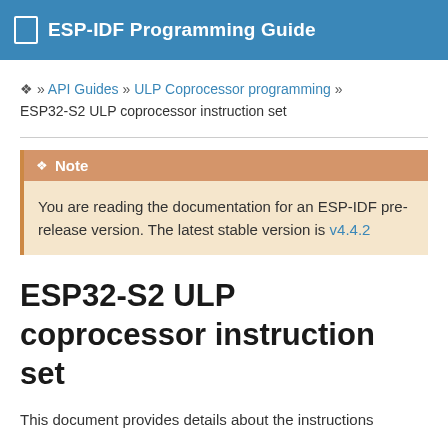ESP-IDF Programming Guide
❏ » API Guides » ULP Coprocessor programming » ESP32-S2 ULP coprocessor instruction set
Note
You are reading the documentation for an ESP-IDF pre-release version. The latest stable version is v4.4.2
ESP32-S2 ULP coprocessor instruction set
This document provides details about the instructions